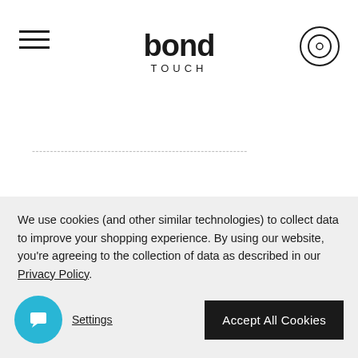bond TOUCH
------------------------------------------------------------
We use cookies (and other similar technologies) to collect data to improve your shopping experience. By using our website, you're agreeing to the collection of data as described in our Privacy Policy.
Settings | Accept All Cookies